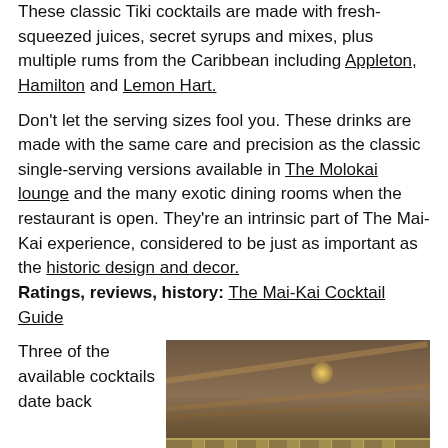These classic Tiki cocktails are made with fresh-squeezed juices, secret syrups and mixes, plus multiple rums from the Caribbean including Appleton, Hamilton and Lemon Hart.
Don't let the serving sizes fool you. These drinks are made with the same care and precision as the classic single-serving versions available in The Molokai lounge and the many exotic dining rooms when the restaurant is open. They're an intrinsic part of The Mai-Kai experience, considered to be just as important as the historic design and decor.
Ratings, reviews, history: The Mai-Kai Cocktail Guide
Three of the available cocktails date back
[Figure (photo): Interior photo of The Mai-Kai restaurant showing a thatched roof structure with wooden beams, hanging lantern light, and a railing in the foreground. Dark warm tones of brown and amber.]